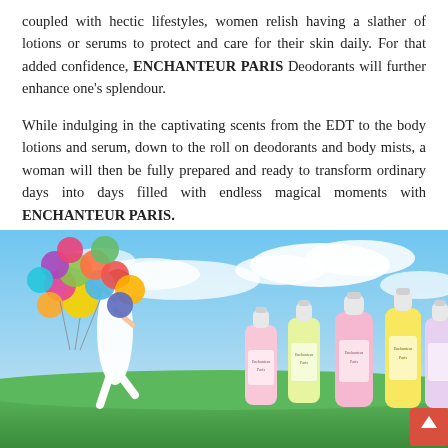coupled with hectic lifestyles, women relish having a slather of lotions or serums to protect and care for their skin daily. For that added confidence, ENCHANTEUR PARIS Deodorants will further enhance one's splendour.
While indulging in the captivating scents from the EDT to the body lotions and serum, down to the roll on deodorants and body mists, a woman will then be fully prepared and ready to transform ordinary days into days filled with endless magical moments with ENCHANTEUR PARIS.
[Figure (photo): Advertisement image showing a woman in a white dress holding colorful balloons outdoors against a blue sky, with Enchanteur Paris product bottles (deodorants/body mists in pink, yellow, and white packaging) displayed in the foreground on green grass.]